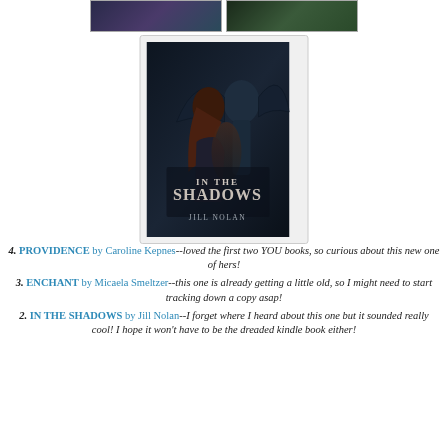[Figure (photo): Partial view of two book covers at the top of the page]
[Figure (photo): Book cover for 'In the Shadows' by Jill Nolan — dark fantasy cover with a woman and a winged figure]
4. PROVIDENCE by Caroline Kepnes--loved the first two YOU books, so curious about this new one of hers!
3. ENCHANT by Micaela Smeltzer--this one is already getting a little old, so I might need to start tracking down a copy asap!
2. IN THE SHADOWS by Jill Nolan--I forget where I heard about this one but it sounded really cool! I hope it won't have to be the dreaded kindle book either!